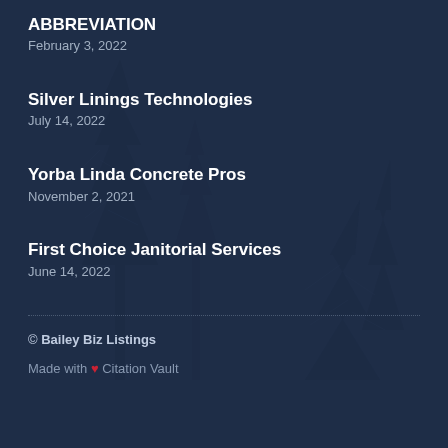ABBREVIATION
February 3, 2022
Silver Linings Technologies
July 14, 2022
Yorba Linda Concrete Pros
November 2, 2021
First Choice Janitorial Services
June 14, 2022
© Bailey Biz Listings
Made with ❤ Citation Vault